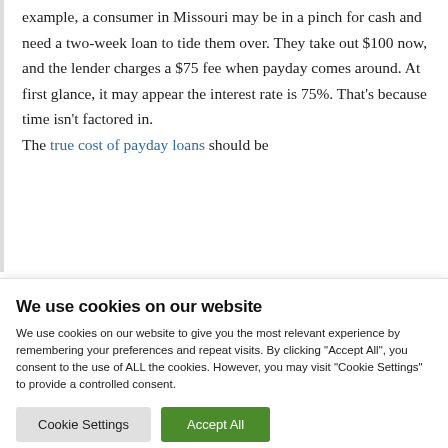example, a consumer in Missouri may be in a pinch for cash and need a two-week loan to tide them over. They take out $100 now, and the lender charges a $75 fee when payday comes around. At first glance, it may appear the interest rate is 75%. That's because time isn't factored in. The true cost of payday loans should be
We use cookies on our website
We use cookies on our website to give you the most relevant experience by remembering your preferences and repeat visits. By clicking "Accept All", you consent to the use of ALL the cookies. However, you may visit "Cookie Settings" to provide a controlled consent.